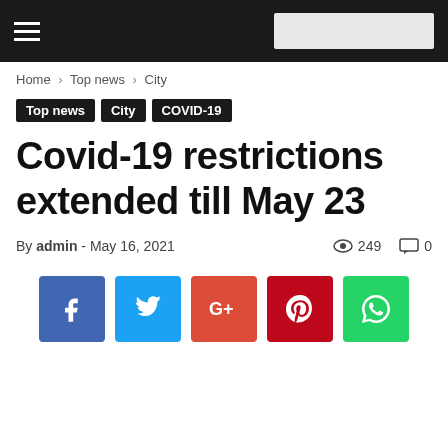Navigation bar with hamburger menu and search box
Home › Top news › City
Top news   City   COVID-19
Covid-19 restrictions extended till May 23
By admin - May 16, 2021   249   0
[Figure (infographic): Social media share buttons: Facebook, Twitter, Google+, Pinterest, WhatsApp]